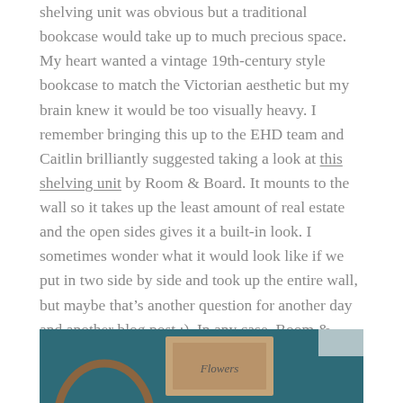shelving unit was obvious but a traditional bookcase would take up to much precious space. My heart wanted a vintage 19th-century style bookcase to match the Victorian aesthetic but my brain knew it would be too visually heavy. I remember bringing this up to the EHD team and Caitlin brilliantly suggested taking a look at this shelving unit by Room & Board. It mounts to the wall so it takes up the least amount of real estate and the open sides gives it a built-in look. I sometimes wonder what it would look like if we put in two side by side and took up the entire wall, but maybe that's another question for another day and another blog post ;). In any case, Room & Board sent us this bookshelf and it was exactly what that little wall needed. It holds so many books and the black finish helped bring a modern flair to our design, and ties in all the black accents.
[Figure (photo): Bottom portion of a photo showing a teal/dark blue wall with a decorative circular brown/gold object on the left and a framed artwork in the center.]